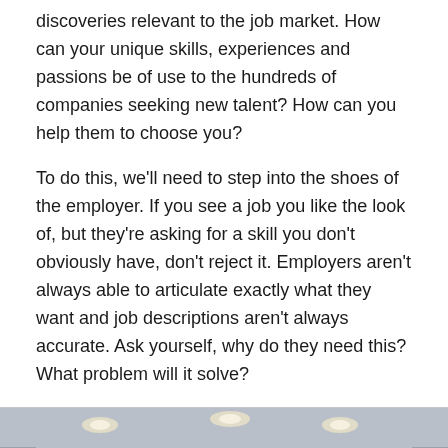discoveries relevant to the job market. How can your unique skills, experiences and passions be of use to the hundreds of companies seeking new talent? How can you help them to choose you?
To do this, we'll need to step into the shoes of the employer. If you see a job you like the look of, but they're asking for a skill you don't obviously have, don't reject it. Employers aren't always able to articulate exactly what they want and job descriptions aren't always accurate. Ask yourself, why do they need this? What problem will it solve?
[Figure (photo): Interior photo of what appears to be a conference or exhibition hall with recessed ceiling lights and a screen/display showing text 'om Label' in blue on a dark background.]